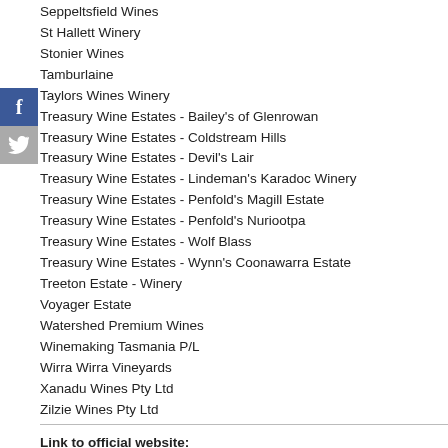Seppeltsfield Wines
St Hallett Winery
Stonier Wines
Tamburlaine
Taylors Wines Winery
Treasury Wine Estates - Bailey's of Glenrowan
Treasury Wine Estates - Coldstream Hills
Treasury Wine Estates - Devil's Lair
Treasury Wine Estates - Lindeman's Karadoc Winery
Treasury Wine Estates - Penfold's Magill Estate
Treasury Wine Estates - Penfold's Nuriootpa
Treasury Wine Estates - Wolf Blass
Treasury Wine Estates - Wynn's Coonawarra Estate
Treeton Estate - Winery
Voyager Estate
Watershed Premium Wines
Winemaking Tasmania P/L
Wirra Wirra Vineyards
Xanadu Wines Pty Ltd
Zilzie Wines Pty Ltd
Link to official website:
http://www.awri.com.au/industry_support/entwine/
Reference Contact:
helpdeck@awri.com.au